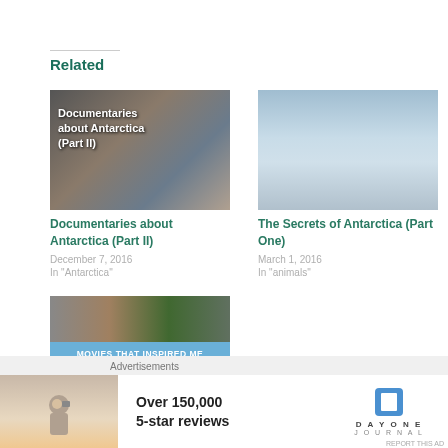Related
[Figure (photo): Thumbnail image of seals for Documentaries about Antarctica Part II article]
Documentaries about Antarctica (Part II)
December 7, 2016
In "Antarctica"
[Figure (photo): Thumbnail image of snowy Antarctic mountains and clouds for The Secrets of Antarctica Part One article]
The Secrets of Antarctica (Part One)
March 1, 2016
In "animals"
[Figure (photo): Thumbnail collage for Movies That Inspired Me To Travel article with blue banner text]
Movies That Inspired Me
Advertisements
[Figure (photo): Day One Journal advertisement with person photographing sunset, text Over 150,000 5-star reviews, and Day One Journal logo]